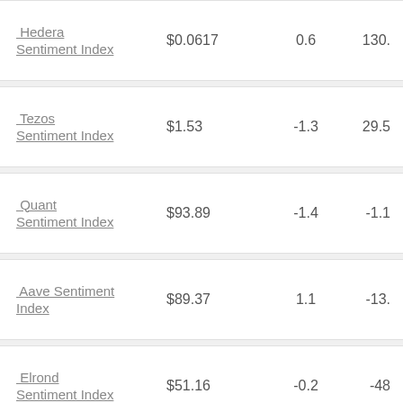| Name | Price | Val1 | Val2 |
| --- | --- | --- | --- |
| Hedera Sentiment Index | $0.0617 | 0.6 | 130. |
| Tezos Sentiment Index | $1.53 | -1.3 | 29.5 |
| Quant Sentiment Index | $93.89 | -1.4 | -1.1 |
| Aave Sentiment Index | $89.37 | 1.1 | -13. |
| Elrond Sentiment Index | $51.16 | -0.2 | -48 |